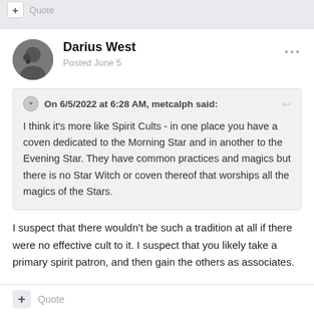+ Quote
Darius West
Posted June 5
On 6/5/2022 at 6:28 AM, metcalph said:
I think it's more like Spirit Cults - in one place you have a coven dedicated to the Morning Star and in another to the Evening Star.  They have common practices and magics but there is no Star Witch or coven thereof that worships all the magics of the Stars.
I suspect that there wouldn't be such a tradition at all if there were no effective cult to it.  I suspect that you likely take a primary spirit patron, and then gain the others as associates.
+ Quote